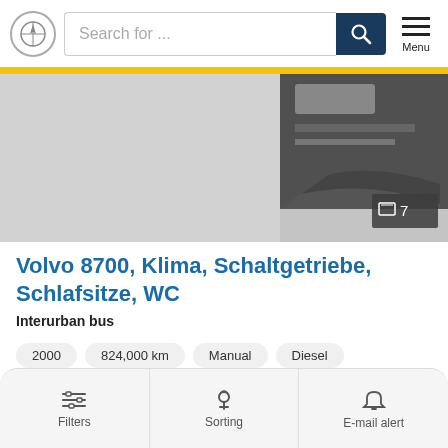Search for ...
[Figure (photo): Partial photo of a Volvo 8700 bus interior/exterior, grayscale, showing partial vehicle detail. Photo counter shows 7 images.]
Volvo 8700, Klima, Schaltgetriebe, Schlafsitze, WC
Interurban bus
2000
824,000 km
Manual
Diesel
Hamburg, Germany
Price on request
Filters   Sorting   E-mail alert